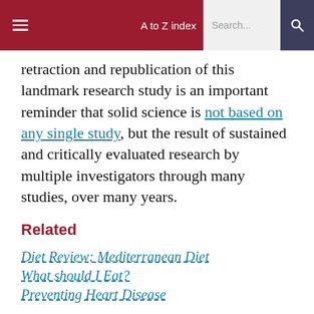A to Z index  Search...
retraction and republication of this landmark research study is an important reminder that solid science is not based on any single study, but the result of sustained and critically evaluated research by multiple investigators through many studies, over many years.
Related
Diet Review: Mediterranean Diet
What should I Eat?
Preventing Heart Disease
References
1. Estruch R, Ros E, Salas-Salvadó J, Covas MI,